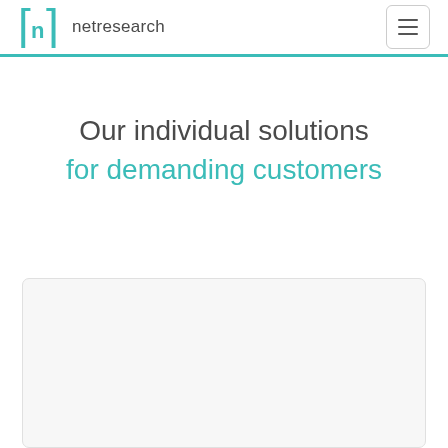netresearch
Our individual solutions for demanding customers
[Figure (other): White card/panel with rounded corners and light gray background, partially visible at bottom of page]